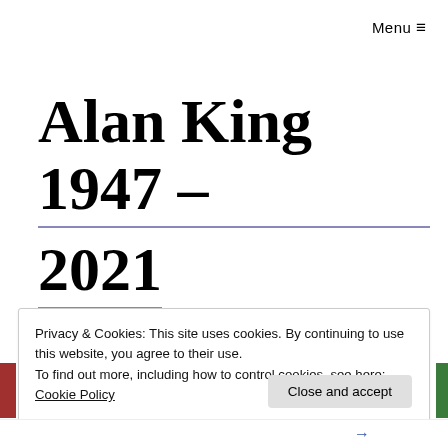Menu ≡
Alan King 1947 – 2021
Privacy & Cookies: This site uses cookies. By continuing to use this website, you agree to their use.
To find out more, including how to control cookies, see here: Cookie Policy
Close and accept